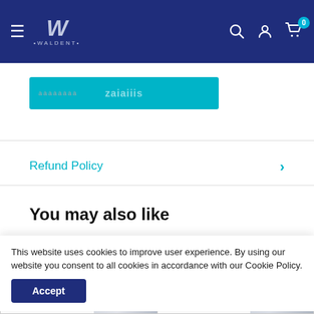Waldent — navigation bar with logo, search, account, and cart (0 items)
Add to Cart button (partially visible)
Refund Policy
You may also like
[Figure (screenshot): Two product cards partially visible, each with a navy 'Save 54%' and 'Save 41%' badge]
This website uses cookies to improve user experience. By using our website you consent to all cookies in accordance with our Cookie Policy.
Accept